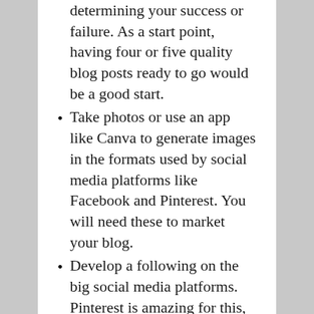determining your success or failure.  As a start point, having four or five quality blog posts ready to go would be a good start.
Take photos or use an app like Canva to generate images in the formats used by social media platforms like Facebook and Pinterest.  You will need these to market your blog.
Develop a following on the big social media platforms.   Pinterest is amazing for this, Instagram and facebook can also be useful.   I believe Twitter is good but I don’t use that much  at this stage myself so I cannot really comment.  More on this in a later post.